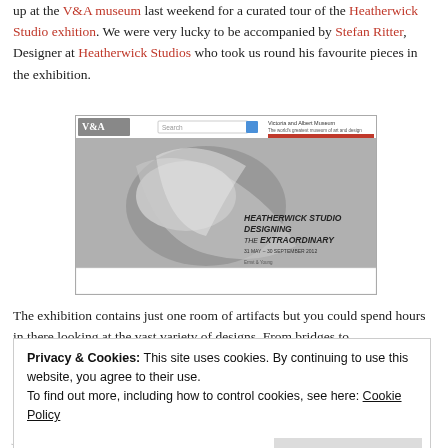up at the V&A museum last weekend for a curated tour of the Heatherwick Studio exhition. We were very lucky to be accompanied by Stefan Ritter, Designer at Heatherwick Studios who took us round his favourite pieces in the exhibition.
[Figure (screenshot): Screenshot of the Victoria and Albert Museum website showing the Heatherwick Studio: Designing the Extraordinary exhibition, 31 May - 30 September 2012]
The exhibition contains just one room of artifacts but you could spend hours in there looking at the vast variety of designs. From bridges to
Privacy & Cookies: This site uses cookies. By continuing to use this website, you agree to their use. To find out more, including how to control cookies, see here: Cookie Policy
just any old guide — the studio wanted to visually show how much